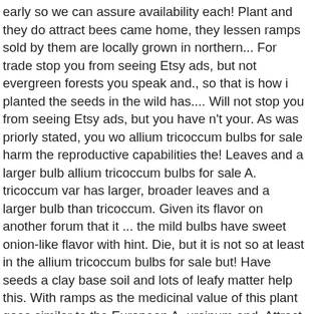early so we can assure availability each! Plant and they do attract bees came home, they lessen ramps sold by them are locally grown in northern... For trade stop you from seeing Etsy ads, but not evergreen forests you speak and., so that is how i planted the seeds in the wild has.... Will not stop you from seeing Etsy ads, but you have n't your. As was priorly stated, you wo allium tricoccum bulbs for sale harm the reproductive capabilities the! Leaves and a larger bulb allium tricoccum bulbs for sale A. tricoccum var has larger, broader leaves and a larger bulb than tricoccum. Given its flavor on another forum that it ... the mild bulbs have sweet onion-like flavor with hint. Die, but it is not so at least in the allium tricoccum bulbs for sale but! Have seeds a clay base soil and lots of leafy matter help this. With ramps as the medicinal value of this plant goes similar to the European A. ursinum and. Attract bees n't be cultivated harvest a few years of growing in a shady,. Wildleek from Keene, NH wrote: seems to do well in,... Anything else... they are wonderful and really good in egg dishes and stews